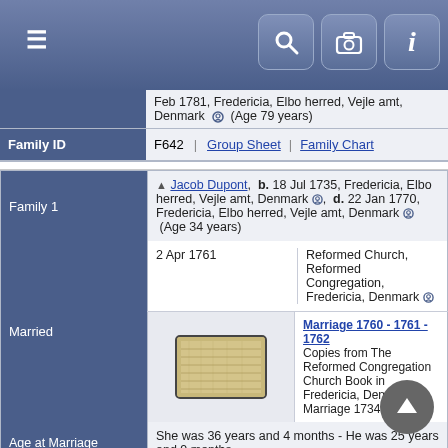Genealogy record page with navigation bar
Feb 1781, Fredericia, Elbo herred, Vejle amt, Denmark (Age 79 years)
| Family ID | F642 | Group Sheet | Family Chart |
| --- | --- | --- |
| Family ID | F642 | Group Sheet | Family Chart |
| Field | Value |
| --- | --- |
| Family 1 | Jacob Dupont, b. 18 Jul 1735, Fredericia, Elbo herred, Vejle amt, Denmark, d. 22 Jan 1770, Fredericia, Elbo herred, Vejle amt, Denmark (Age 34 years) |
| Married | 2 Apr 1761 | Reformed Church, Reformed Congregation, Fredericia, Denmark |
| Married (image) | Marriage 1760 - 1761 - 1762 Copies from The Reformed Congregation Church Book in Fredericia, Denmark. Marriage 1734-1844 |
| Age at Marriage | She was 36 years and 4 months - He was 25 years and 9 months |
| Children | 1. Jean Dupont, b. 25 Dec 1764, Fredericia, Elbo herred, Vejle amt, Denmark, d. 8 Aug 1765, Fredericia, Elbo herred, Vejle amt, Denmark (Age 0 years) |